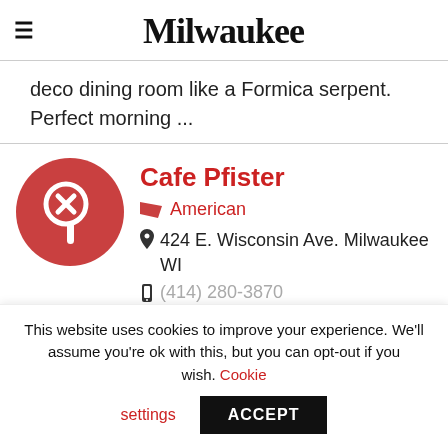Milwaukee
deco dining room like a Formica serpent. Perfect morning ...
Cafe Pfister
American
424 E. Wisconsin Ave. Milwaukee WI
Cookie settings
This website uses cookies to improve your experience. We'll assume you're ok with this, but you can opt-out if you wish. Cookie settings ACCEPT